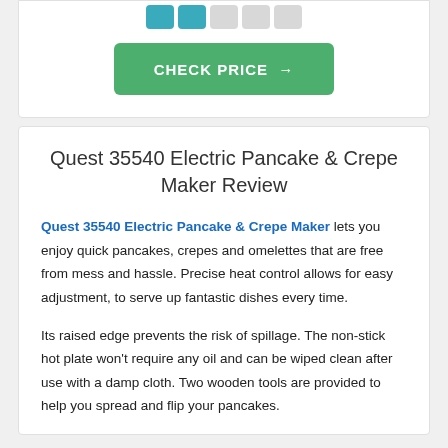[Figure (other): Star rating icons (2 teal filled, 3 gray) and a green CHECK PRICE button]
Quest 35540 Electric Pancake & Crepe Maker Review
Quest 35540 Electric Pancake & Crepe Maker lets you enjoy quick pancakes, crepes and omelettes that are free from mess and hassle. Precise heat control allows for easy adjustment, to serve up fantastic dishes every time.
Its raised edge prevents the risk of spillage. The non-stick hot plate won’t require any oil and can be wiped clean after use with a damp cloth. Two wooden tools are provided to help you spread and flip your pancakes.